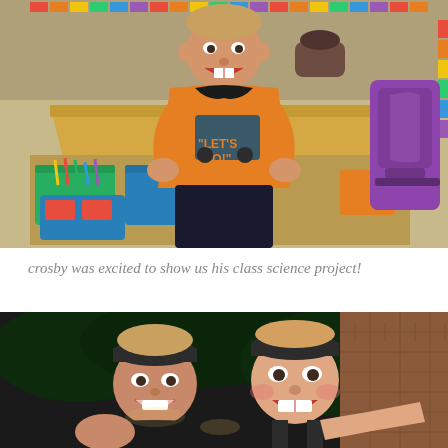[Figure (photo): A young boy smiling in an orange 'Let's Go' t-shirt, standing in a classroom in front of a wooden desk with colorful supply bins. Rainbow border decoration visible in the background. Purple chairs on the right.]
crosby was excited to show us his class science project!
[Figure (photo): Two people wearing headbands taking a selfie at night outdoors, smiling at the camera. Dark background with brick wall visible.]